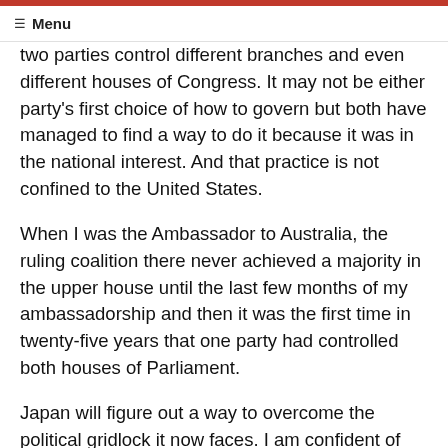☰ Menu
two parties control different branches and even different houses of Congress. It may not be either party's first choice of how to govern but both have managed to find a way to do it because it was in the national interest. And that practice is not confined to the United States.
When I was the Ambassador to Australia, the ruling coalition there never achieved a majority in the upper house until the last few months of my ambassadorship and then it was the first time in twenty-five years that one party had controlled both houses of Parliament.
Japan will figure out a way to overcome the political gridlock it now faces. I am confident of that. But I hope that Japan will not marginalize itself in the international community in the meantime.